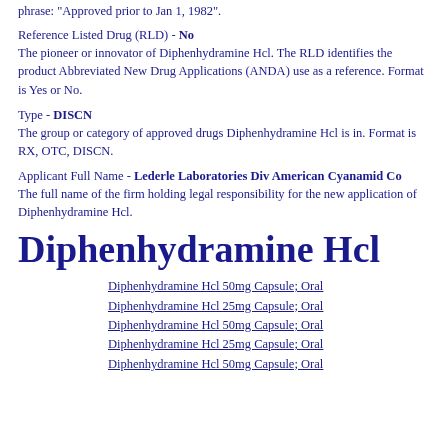phrase: "Approved prior to Jan 1, 1982".
Reference Listed Drug (RLD) - No
The pioneer or innovator of Diphenhydramine Hcl. The RLD identifies the product Abbreviated New Drug Applications (ANDA) use as a reference. Format is Yes or No.
Type - DISCN
The group or category of approved drugs Diphenhydramine Hcl is in. Format is RX, OTC, DISCN.
Applicant Full Name - Lederle Laboratories Div American Cyanamid Co
The full name of the firm holding legal responsibility for the new application of Diphenhydramine Hcl.
Diphenhydramine Hcl
Diphenhydramine Hcl 50mg Capsule; Oral
Diphenhydramine Hcl 25mg Capsule; Oral
Diphenhydramine Hcl 50mg Capsule; Oral
Diphenhydramine Hcl 25mg Capsule; Oral
Diphenhydramine Hcl 50mg Capsule; Oral